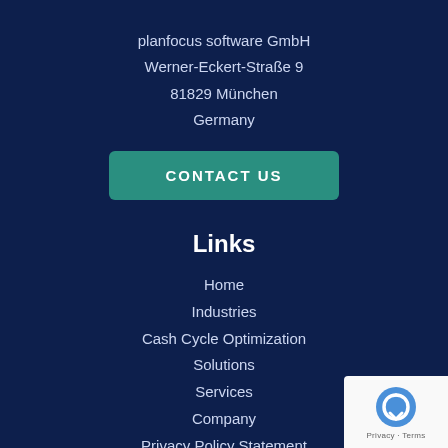planfocus software GmbH
Werner-Eckert-Straße 9
81829 München
Germany
CONTACT US
Links
Home
Industries
Cash Cycle Optimization
Solutions
Services
Company
Privacy Policy Statement
Imprint
Cookie-Richtlinie (EU)
[Figure (logo): reCAPTCHA badge with Privacy and Terms links]